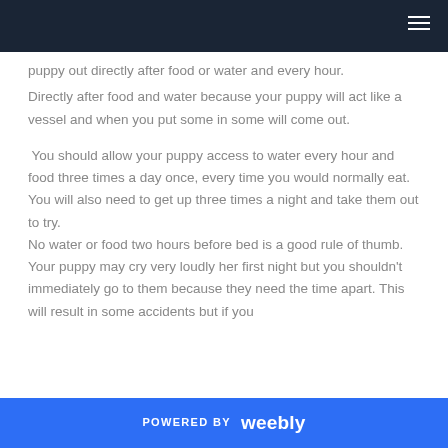puppy out directly after food or water and every hour.
Directly after food and water because your puppy will act like a vessel and when you put some in some will come out.
You should allow your puppy access to water every hour and food three times a day once, every time you would normally eat. You will also need to get up three times a night and take them out to try.
No water or food two hours before bed is a good rule of thumb. Your puppy may cry very loudly her first night but you shouldn't immediately go to them because they need the time apart. This will result in some accidents but if you
POWERED BY weebly